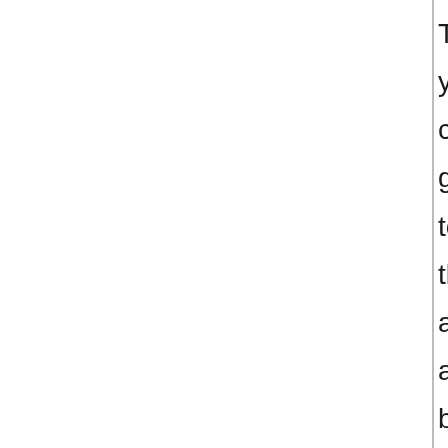The you can get to the as about by choosing File > New > Template and Do...
Co...
If You Wa... to Be...